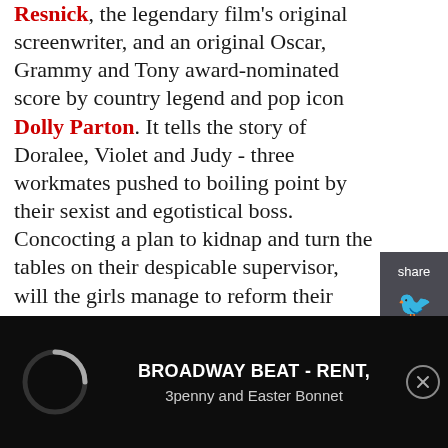Resnick, the legendary film's original screenwriter, and an original Oscar, Grammy and Tony award-nominated score by country legend and pop icon Dolly Parton. It tells the story of Doralee, Violet and Judy - three workmates pushed to boiling point by their sexist and egotistical boss. Concocting a plan to kidnap and turn the tables on their despicable supervisor, will the girls manage to reform their office - or will events unravel when the CEO pays an unexpected visit? Inspired by the cult film this hilarious new West End production is about teaming up, standing up and taking care of business!

9 TO 5 THE MUSICAL is written by Patricia Resnick, with music and lyrics by Dolly Parton. It is
[Figure (other): Share panel on right side with Twitter and Facebook icons]
[Figure (other): Advertisement bar at bottom: Broadway Beat - Rent, 3penny and Easter Bonnet, with loading spinner and close button]